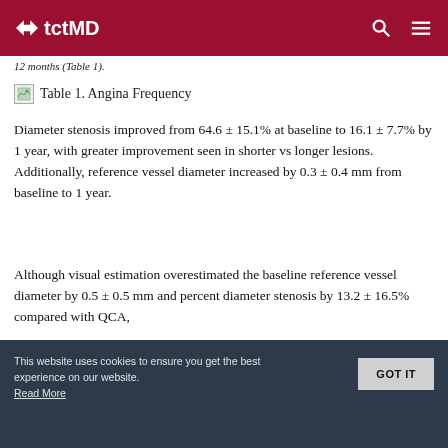tctMD
12 months (Table 1).
Table 1. Angina Frequency
Diameter stenosis improved from 64.6 ± 15.1% at baseline to 16.1 ± 7.7% by 1 year, with greater improvement seen in shorter vs longer lesions. Additionally, reference vessel diameter increased by 0.3 ± 0.4 mm from baseline to 1 year.
Although visual estimation overestimated the baseline reference vessel diameter by 0.5 ± 0.5 mm and percent diameter stenosis by 13.2 ± 16.5% compared with QCA,
This website uses cookies to ensure you get the best experience on our website. Read More
GOT IT